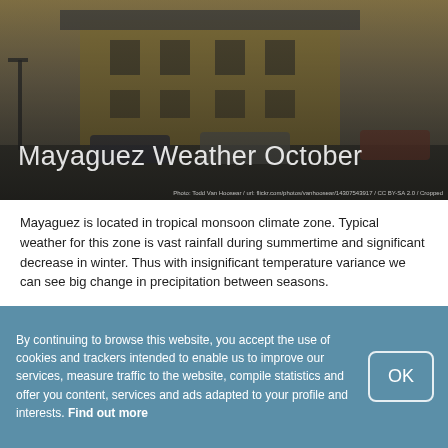[Figure (photo): Street scene photo of Mayaguez, showing a yellow building, parked cars, and street lamps, used as hero banner background]
Mayaguez Weather October
Photo: Todd Van Hoosear / url: flickr.com/photos/vanhoosear/14307543917 / CC BY-SA 2.0 / Cropped
Mayaguez is located in tropical monsoon climate zone. Typical weather for this zone is vast rainfall during summertime and significant decrease in winter. Thus with insignificant temperature variance we can see big change in precipitation between seasons.
To help you choose the best time to travel, you can find climate data below on the weather in Mayaguez in October.
average daily high   +31.9°C
By continuing to browse this website, you accept the use of cookies and trackers intended to enable us to improve our services, measure traffic to the website, compile statistics and offer you content, services and ads adapted to your profile and interests. Find out more